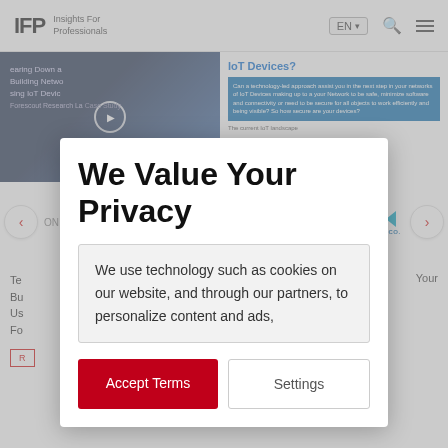IFP Insights For Professionals | EN | Search | Menu
[Figure (screenshot): Background website content showing article images, carousel navigation, and page content partially obscured by modal overlay]
We Value Your Privacy
We use technology such as cookies on our website, and through our partners, to personalize content and ads,
Accept Terms
Settings